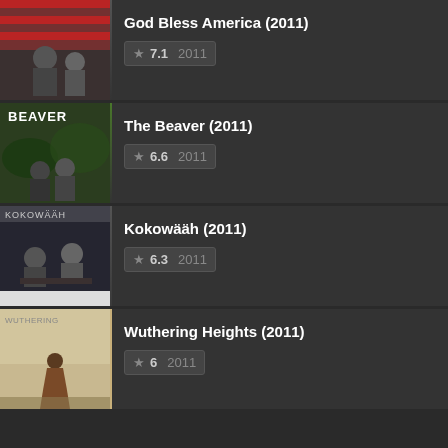[Figure (screenshot): Movie listing UI showing 4 films with poster thumbnails, titles, star ratings, and year]
God Bless America (2011) | ★ 7.1 | 2011
The Beaver (2011) | ★ 6.6 | 2011
Kokowääh (2011) | ★ 6.3 | 2011
Wuthering Heights (2011) | ★ 6 | 2011